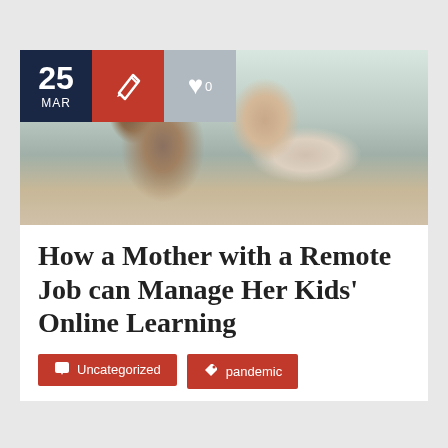[Figure (photo): A Black mother holding a sleeping baby/toddler, sitting indoors near a window, with a laptop visible in the background. The mother looks tired or concerned.]
How a Mother with a Remote Job can Manage Her Kids' Online Learning
Uncategorized
pandemic